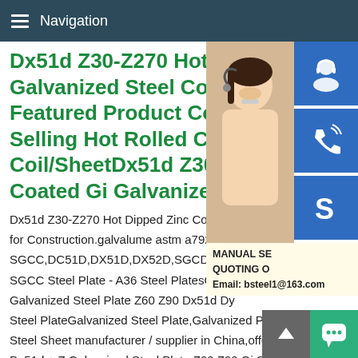Navigation
Dx51d Z30-Z270 Hot Dipped Galvanized Steel Coil for Con Featured Product Contact now Selling Hot Rolled Chequered Coil/SheetDx51d Z30-Z270 H Coated Gi Galvanized Steel
Dx51d Z30-Z270 Hot Dipped Zinc Coated for Construction.galvalume astm a792 coil SGCC,DC51D,DX51D,DX52D,SGCDDx5 SGCC Steel Plate - A36 Steel PlatesChina Galvanized Steel Plate Z60 Z90 Dx51d Dy Steel PlateGalvanized Steel Plate,Galvanized Plate,Galvanized Steel Sheet manufacturer / supplier in China,offering SGCC Sgcd Dx51d + Z Galvanized Steel Plate Z60 Z90 Gi Sheet Best Price,201 304 316 316L 410 904 Square Meter Price Stainless Steel Plate Price
[Figure (photo): Customer service representative woman with headset, blue icon buttons for support/call/Skype, manual quoting overlay with email bsteel1@163.com, chat bubble and scroll-to-top buttons]